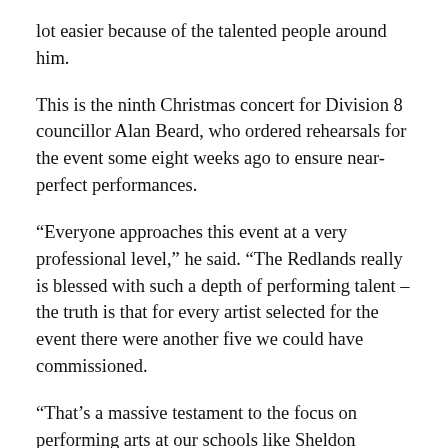lot easier because of the talented people around him.
This is the ninth Christmas concert for Division 8 councillor Alan Beard, who ordered rehearsals for the event some eight weeks ago to ensure near-perfect performances.
“Everyone approaches this event at a very professional level,” he said. “The Redlands really is blessed with such a depth of performing talent – the truth is that for every artist selected for the event there were another five we could have commissioned.
“That’s a massive testament to the focus on performing arts at our schools like Sheldon College, Ormiston and Cleveland high schools … that we can produce artists who can so easily perform in front of a crowd of 10,000-12,000 people.
“Indeed, the local artists we have selected are at the top of their game – most of them selected themselves.”